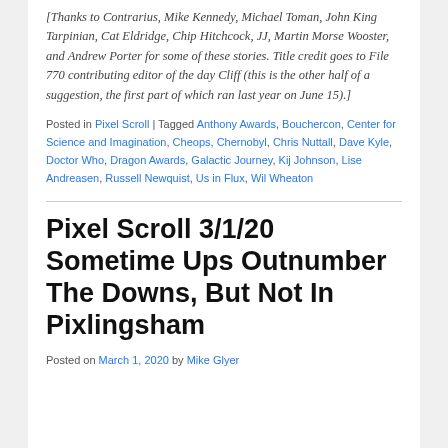[Thanks to Contrarius, Mike Kennedy, Michael Toman, John King Tarpinian, Cat Eldridge, Chip Hitchcock, JJ, Martin Morse Wooster, and Andrew Porter for some of these stories. Title credit goes to File 770 contributing editor of the day Cliff (this is the other half of a suggestion, the first part of which ran last year on June 15).]
Posted in Pixel Scroll | Tagged Anthony Awards, Bouchercon, Center for Science and Imagination, Cheops, Chernobyl, Chris Nuttall, Dave Kyle, Doctor Who, Dragon Awards, Galactic Journey, Kij Johnson, Lise Andreasen, Russell Newquist, Us in Flux, Wil Wheaton
Pixel Scroll 3/1/20 Sometime Ups Outnumber The Downs, But Not In Pixlingsham
Posted on March 1, 2020 by Mike Glyer